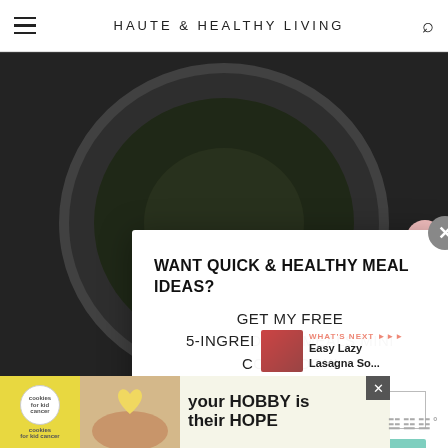HAUTE & HEALTHY LIVING
[Figure (photo): Dark background food photo with circular plate]
WANT QUICK & HEALTHY MEAL IDEAS?
GET MY FREE 5-INGREDIENT MEALS MINI COOKBOOK!
Email address
SEND ME THE COOKBOOK!
541
[Figure (other): What's Next widget showing Easy Lazy Lasagna So...]
[Figure (other): Bottom advertisement banner: cookies for kid cancer, your HOBBY is their HOPE]